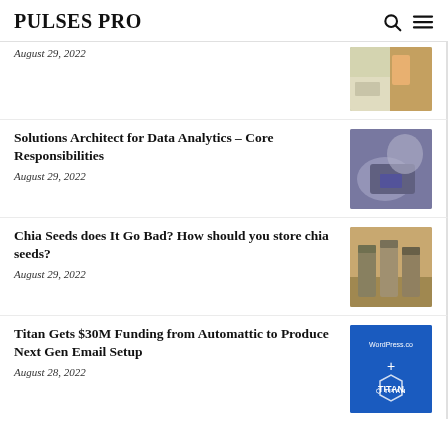PULSES PRO
August 29, 2022
Solutions Architect for Data Analytics – Core Responsibilities
August 29, 2022
Chia Seeds does It Go Bad? How should you store chia seeds?
August 29, 2022
Titan Gets $30M Funding from Automattic to Produce Next Gen Email Setup
August 28, 2022